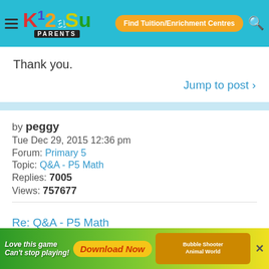Kiasu Parents — Find Tuition/Enrichment Centres
Thank you.
Jump to post ›
by peggy
Tue Dec 29, 2015 12:36 pm
Forum: Primary 5
Topic: Q&A - P5 Math
Replies: 7005
Views: 757677
Re: Q&A - P5 Math
Is the answer 27 muffins and 151 cupcakes ?
[Figure (infographic): Advertisement banner: 'Love this game! Can't stop playing! Download Now' with game graphics including Bubble Shooter Animal World]